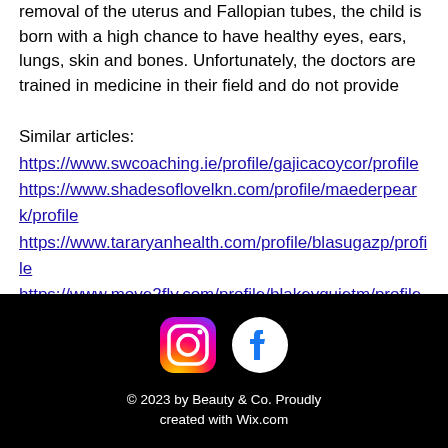removal of the uterus and Fallopian tubes, the child is born with a high chance to have healthy eyes, ears, lungs, skin and bones. Unfortunately, the doctors are trained in medicine in their field and do not provide
Similar articles:
https://www.swcoaching.ie/profile/gajicacoycor/profile
https://www.shadesoflovelkn.com/profile/maederpeark/profile
https://www.tararyanhealth.com/profile/blasugazp/profile
https://www.move2fly.com/profile/blakeyquietm/profile
© 2023 by Beauty & Co. Proudly created with Wix.com